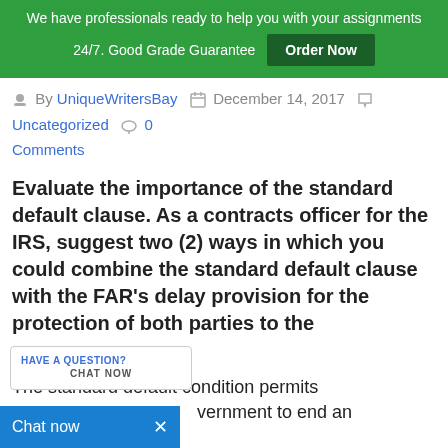We have professionals ready to help you with your assignments 24/7. Good Grade Guarantee [Order Now]
By UniqueWritersBay  December 14, 2017  Uncategorized  0 Comments
Evaluate the importance of the standard default clause. As a contracts officer for the IRS, suggest two (2) ways in which you could combine the standard default clause with the FAR's delay provision for the protection of both parties to the
The standard default condition permits the government to end an